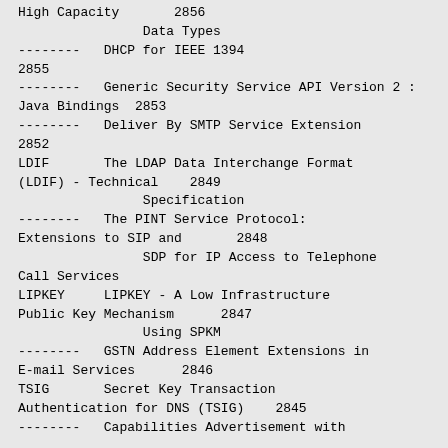High Capacity       2856
                Data Types
--------   DHCP for IEEE 1394  2855
--------   Generic Security Service API Version 2 : Java Bindings  2853
--------   Deliver By SMTP Service Extension  2852
LDIF       The LDAP Data Interchange Format (LDIF) - Technical    2849
                Specification
--------   The PINT Service Protocol: Extensions to SIP and       2848
                SDP for IP Access to Telephone Call Services
LIPKEY     LIPKEY - A Low Infrastructure Public Key Mechanism      2847
                Using SPKM
--------   GSTN Address Element Extensions in E-mail Services      2846
TSIG       Secret Key Transaction Authentication for DNS (TSIG)    2845
--------   Capabilities Advertisement with
--------   DHCP for IEEE 1394  2855
--------   Generic Security Service API Version 2 : Java Bindings  2853
--------   Deliver By SMTP Service Extension  2852
LDIF       The LDAP Data Interchange Format (LDIF) - Technical    2849
--------   The PINT Service Protocol: Extensions to SIP and       2848
LIPKEY     LIPKEY - A Low Infrastructure Public Key Mechanism      2847
--------   GSTN Address Element Extensions in E-mail Services      2846
TSIG       Secret Key Transaction Authentication for DNS (TSIG)    2845
--------   Capabilities Advertisement with